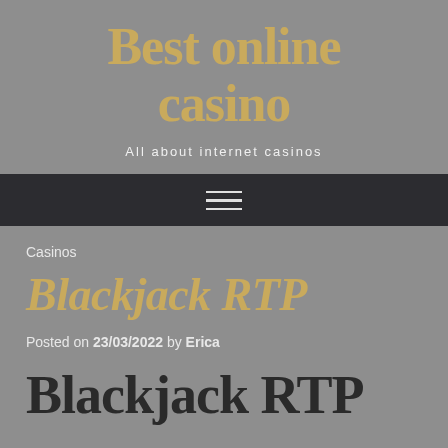Best online casino
All about internet casinos
[Figure (other): Navigation bar with hamburger menu icon (three horizontal lines) on dark background]
Casinos
Blackjack RTP
Posted on 23/03/2022 by Erica
Blackjack RTP